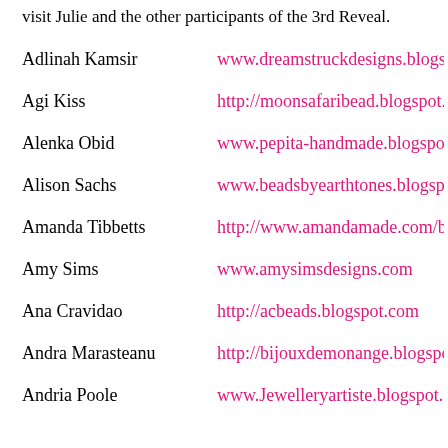visit Julie and the other participants of the 3rd Reveal.
Adlinah Kamsir — www.dreamstruckdesigns.blogspot.com
Agi Kiss — http://moonsafaribead.blogspot.com
Alenka Obid — www.pepita-handmade.blogspot.com
Alison Sachs — www.beadsbyearthtones.blogspot.com
Amanda Tibbetts — http://www.amandamade.com/blog
Amy Sims — www.amysimsdesigns.com
Ana Cravidao — http://acbeads.blogspot.com
Andra Marasteanu — http://bijouxdemonange.blogspot.com
Andria Poole — www.Jewelleryartiste.blogspot.com